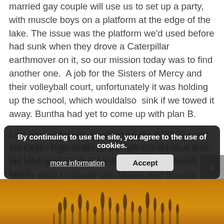married gay couple will use us to set up a party, with muscle boys on a platform at the edge of the lake. The issue was the platform we’d used before had sunk when they drove a Caterpillar earthmover on it, so our mission today was to find another one.  A job for the Sisters of Mercy and their volleyball court, unfortunately it was holding up the school, which wouldalso  sink if we towed it away. Buntha had yet to come up with plan B.
Lors had a chicken smoking on the BBQ, Ra laid the table, Tiger took his shirt off, Jin blended into the background, Buntha sorted out the Sisters of Mercy while I relaxed with Manus and thought about our next adventure, a night on the lake with Manus on finfoot.
I want to sleep on the boat, Manus told me, and so did I but customers got in the way until the staff lunch.
By continuing to use the site, you agree to the use of cookies.
more information
Accept
[Figure (photo): Bottom strip showing golden/amber reeds or grass against a warm orange-toned sky background, like a sunset photo at a lake.]